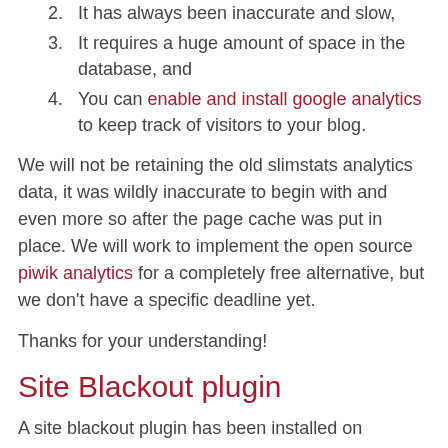2. It has always been inaccurate and slow,
3. It requires a huge amount of space in the database, and
4. You can enable and install google analytics to keep track of visitors to your blog.
We will not be retaining the old slimstats analytics data, it was wildly inaccurate to begin with and even more so after the page cache was put in place. We will work to implement the open source piwik analytics for a completely free alternative, but we don't have a specific deadline yet.
Thanks for your understanding!
Site Blackout plugin
A site blackout plugin has been installed on blogs.law. We had several requests for this feature